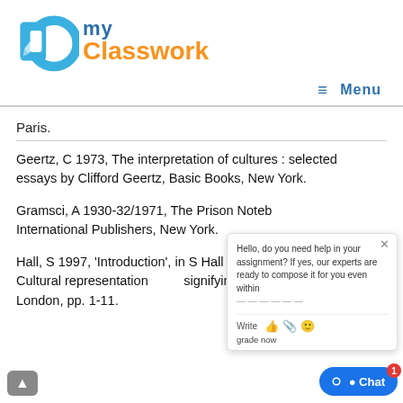[Figure (logo): DoMyClasswork logo with blue/teal circular icon and text 'DO my Classwork']
≡  Menu
Paris.
Geertz, C 1973, The interpretation of cultures : selected essays by Clifford Geertz, Basic Books, New York.
Gramsci, A 1930-32/1971, The Prison Notebooks, International Publishers, New York.
Hall, S 1997, 'Introduction', in S Hall (ed.), Representation: Cultural representations and signifying practices, Sage, London, pp. 1-11.